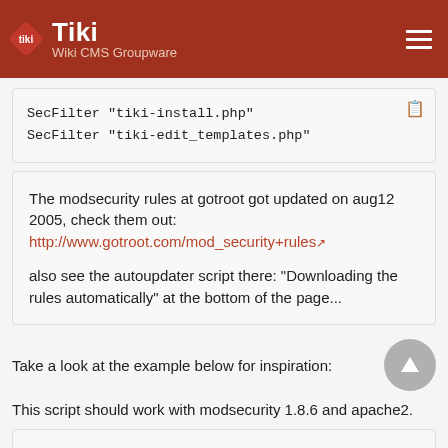Tiki Wiki CMS Groupware
SecFilter "tiki-install.php"
SecFilter "tiki-edit_templates.php"
The modsecurity rules at gotroot got updated on aug12 2005, check them out: http://www.gotroot.com/mod_security+rules

also see the autoupdater script there: "Downloading the rules automatically" at the bottom of the page...
Take a look at the example below for inspiration:
This script should work with modsecurity 1.8.6 and apache2.